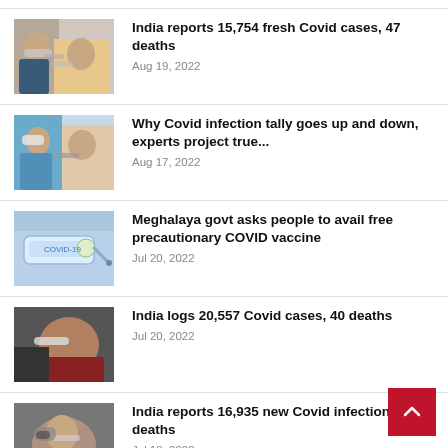[Figure (photo): Healthcare workers performing COVID nasal swab test]
India reports 15,754 fresh Covid cases, 47 deaths
Aug 19, 2022
[Figure (photo): Healthcare worker in blue PPE performing nasal swab test]
Why Covid infection tally goes up and down, experts project true...
Aug 17, 2022
[Figure (photo): COVID-19 vaccine syringe close-up]
Meghalaya govt asks people to avail free precautionary COVID vaccine
Jul 20, 2022
[Figure (photo): Person getting nasal swab COVID test]
India logs 20,557 Covid cases, 40 deaths
Jul 20, 2022
[Figure (photo): Person with glasses getting nasal swab COVID test]
India reports 16,935 new Covid infections, 51 deaths
Jul 18, 2022